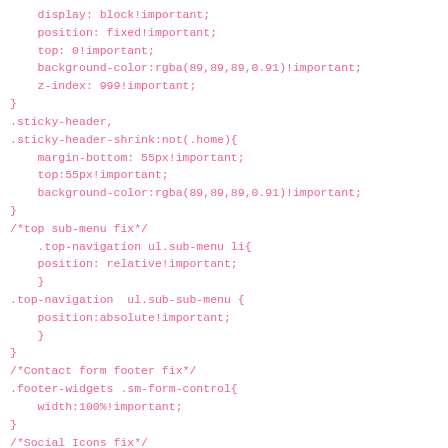display: block!important;
    position: fixed!important;
    top: 0!important;
    background-color:rgba(89,89,89,0.91)!important;
    z-index: 999!important;
}
.sticky-header,
.sticky-header-shrink:not(.home){
    margin-bottom: 55px!important;
    top:55px!important;
    background-color:rgba(89,89,89,0.91)!important;
}
/*top sub-menu fix*/
    .top-navigation ul.sub-menu li{
    position: relative!important;
    }
.top-navigation  ul.sub-sub-menu {
    position:absolute!important;
    }
}
/*Contact form footer fix*/
.footer-widgets .sm-form-control{
    width:100%!important;
}
/*Social Icons fix*/